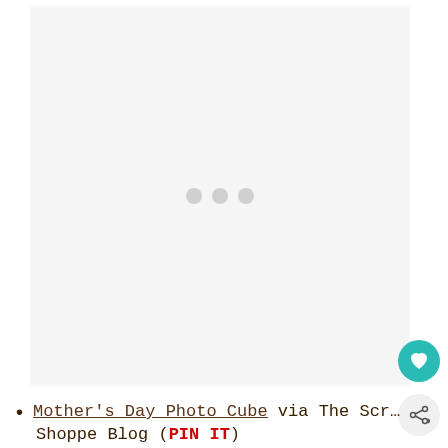[Figure (other): Large image placeholder with light gray background and three gray loading dots in the center, indicating an image that has not loaded]
Mother's Day Photo Cube via The Scrapbook Shoppe Blog (PIN IT)